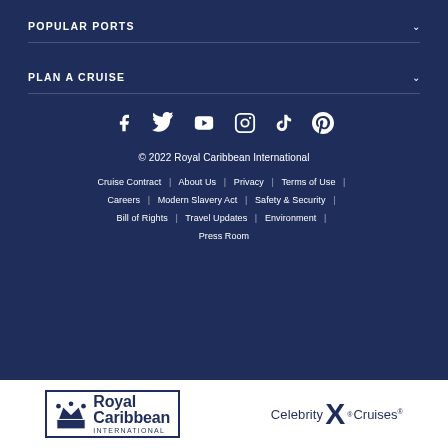POPULAR PORTS
PLAN A CRUISE
[Figure (infographic): Social media icons row: Facebook, Twitter, YouTube, Instagram, TikTok, Pinterest]
© 2022 Royal Caribbean International
Cruise Contract | About Us | Privacy | Terms of Use | Careers | Modern Slavery Act | Safety & Security | Bill of Rights | Travel Updates | Environment | Press Room
[Figure (logo): Royal Caribbean International logo and Celebrity X Cruises logo on white bar]